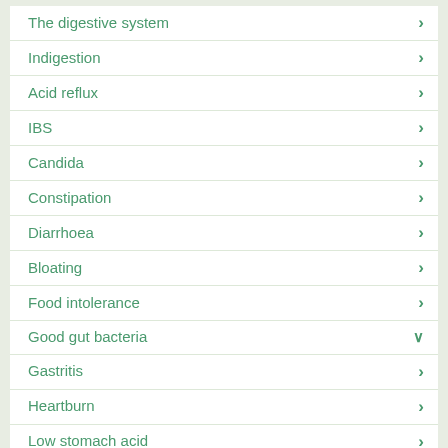The digestive system
Indigestion
Acid reflux
IBS
Candida
Constipation
Diarrhoea
Bloating
Food intolerance
Good gut bacteria
Gastritis
Heartburn
Low stomach acid
Explore more from Digestion Expert Ali Cullen
Can you suddenly get IBS?
10 reasons why you could be more gassy than normal